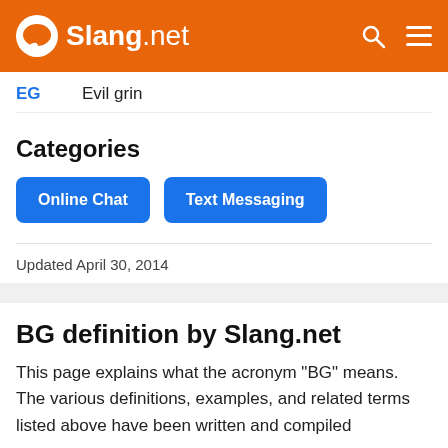Slang.net
EG   Evil grin
Categories
Online Chat
Text Messaging
Updated April 30, 2014
BG definition by Slang.net
This page explains what the acronym "BG" means. The various definitions, examples, and related terms listed above have been written and compiled